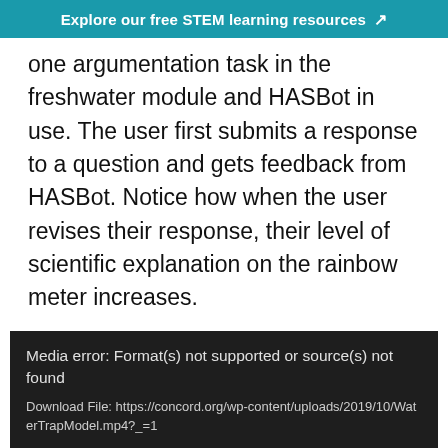Explore our free STEM learning resources ↗
one argumentation task in the freshwater module and HASBot in use. The user first submits a response to a question and gets feedback from HASBot. Notice how when the user revises their response, their level of scientific explanation on the rainbow meter increases.
[Figure (screenshot): Media error box with dark background showing: 'Media error: Format(s) not supported or source(s) not found' and a download link: Download File: https://concord.org/wp-content/uploads/2019/10/WaterTrapModel.mp4?_=1]